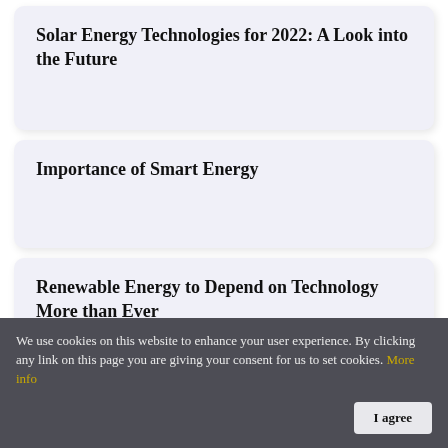Solar Energy Technologies for 2022: A Look into the Future
Importance of Smart Energy
Renewable Energy to Depend on Technology More than Ever
We use cookies on this website to enhance your user experience. By clicking any link on this page you are giving your consent for us to set cookies. More info
I agree